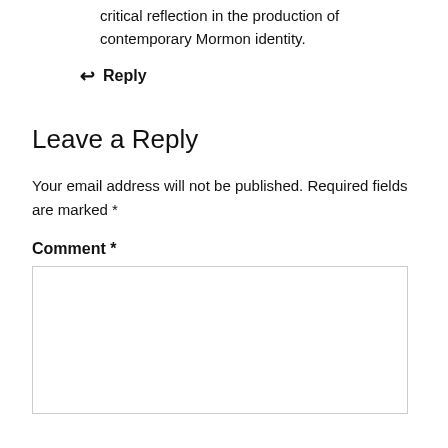critical reflection in the production of contemporary Mormon identity.
↩ Reply
Leave a Reply
Your email address will not be published. Required fields are marked *
Comment *